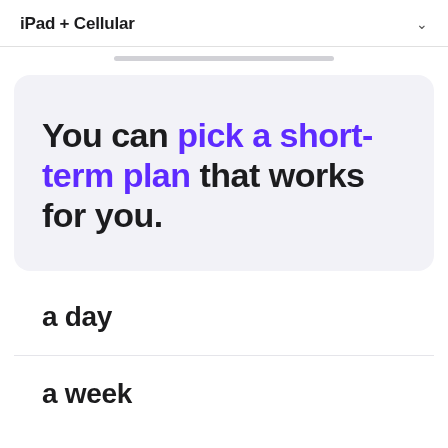iPad + Cellular
You can pick a short-term plan that works for you.
a day
a week